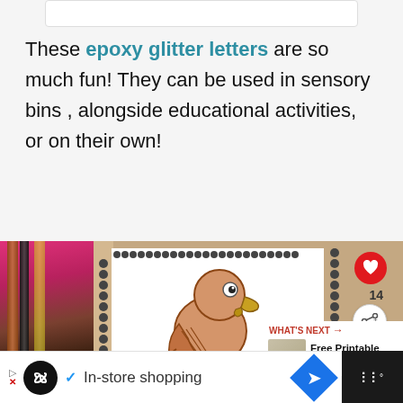These epoxy glitter letters are so much fun! They can be used in sensory bins , alongside educational activities, or on their own!
[Figure (photo): A hand-drawn bird (parrot/bird) on a spiral sketchbook page, surrounded by coloring pencils on a tan/brown background, with UI overlays including a heart/like button showing 14 likes, a share button, and a 'WHAT'S NEXT' panel showing 'Free Printable Letter Q...']
In-store shopping